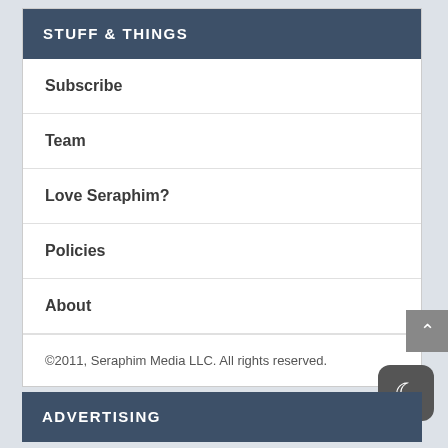STUFF & THINGS
Subscribe
Team
Love Seraphim?
Policies
About
©2011, Seraphim Media LLC. All rights reserved.
ADVERTISING